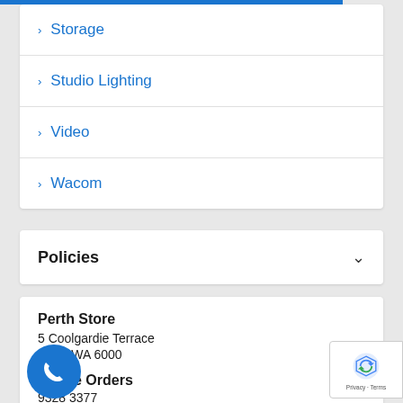Storage
Studio Lighting
Video
Wacom
Policies
Perth Store
5 Coolgardie Terrace
Perth WA 6000
Phone Orders
9328 3377
08 6323 1110